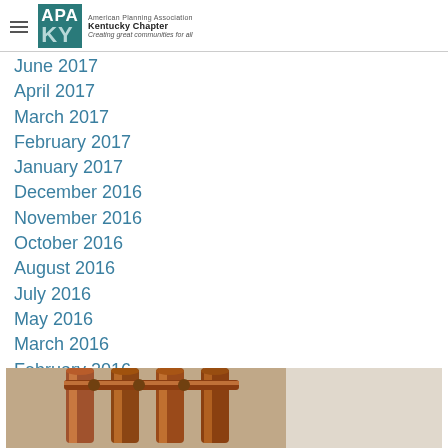APA KY — American Planning Association Kentucky Chapter — Creating great communities for all
June 2017
April 2017
March 2017
February 2017
January 2017
December 2016
November 2016
October 2016
August 2016
July 2016
May 2016
March 2016
February 2016
January 2016
[Figure (photo): Industrial copper/metal pipes against a stone or textured wall, viewed from below]